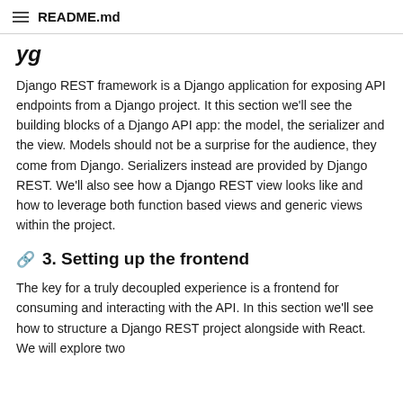README.md
y g
Django REST framework is a Django application for exposing API endpoints from a Django project. It this section we'll see the building blocks of a Django API app: the model, the serializer and the view. Models should not be a surprise for the audience, they come from Django. Serializers instead are provided by Django REST. We'll also see how a Django REST view looks like and how to leverage both function based views and generic views within the project.
3. Setting up the frontend
The key for a truly decoupled experience is a frontend for consuming and interacting with the API. In this section we'll see how to structure a Django REST project alongside with React. We will explore two